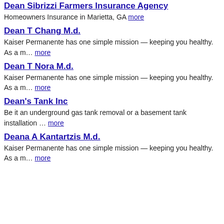Dean Sibrizzi Farmers Insurance Agency
Homeowners Insurance in Marietta, GA more
Dean T Chang M.d.
Kaiser Permanente has one simple mission — keeping you healthy. As a m… more
Dean T Nora M.d.
Kaiser Permanente has one simple mission — keeping you healthy. As a m… more
Dean's Tank Inc
Be it an underground gas tank removal or a basement tank installation … more
Deana A Kantartzis M.d.
Kaiser Permanente has one simple mission — keeping you healthy. As a m… more